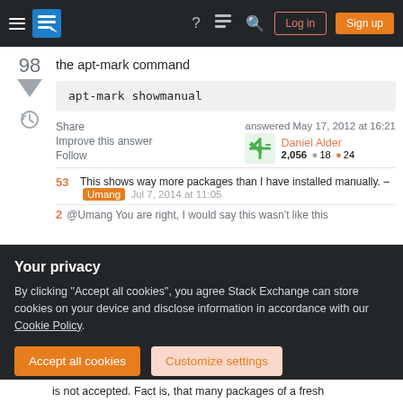Stack Exchange navigation bar with Log in and Sign up buttons
the apt-mark command
98
Share
Improve this answer
Follow
answered May 17, 2012 at 16:21
Daniel Alder
2,056 ● 18 ● 24
53 This shows way more packages than I have installed manually. – Umang Jul 7, 2014 at 11:05
@Umang You are right, I would say this wasn't like this...
Your privacy
By clicking "Accept all cookies", you agree Stack Exchange can store cookies on your device and disclose information in accordance with our Cookie Policy.
Accept all cookies  Customize settings
is not accepted. Fact is, that many packages of a fresh